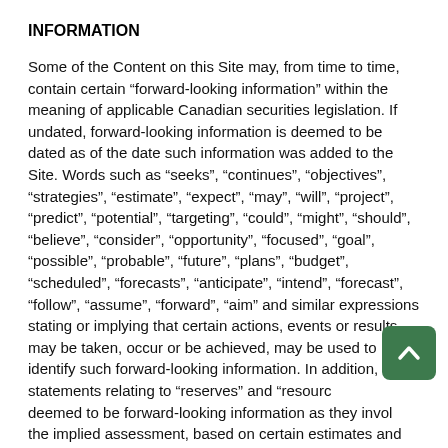INFORMATION
Some of the Content on this Site may, from time to time, contain certain “forward-looking information” within the meaning of applicable Canadian securities legislation. If undated, forward-looking information is deemed to be dated as of the date such information was added to the Site. Words such as “seeks”, “continues”, “objectives”, “strategies”, “estimate”, “expect”, “may”, “will”, “project”, “predict”, “potential”, “targeting”, “could”, “might”, “should”, “believe”, “consider”, “opportunity”, “focused”, “goal”, “possible”, “probable”, “future”, “plans”, “budget”, “scheduled”, “forecasts”, “anticipate”, “intend”, “forecast”, “follow”, “assume”, “forward”, “aim” and similar expressions stating or implying that certain actions, events or results may be taken, occur or be achieved, may be used to identify such forward-looking information. In addition, statements relating to “reserves” and “resources” are deemed to be forward-looking information as they involve the implied assessment, based on certain estimates and assumptions, that the reserves and resources described exist in the quantities described and that the reserves and